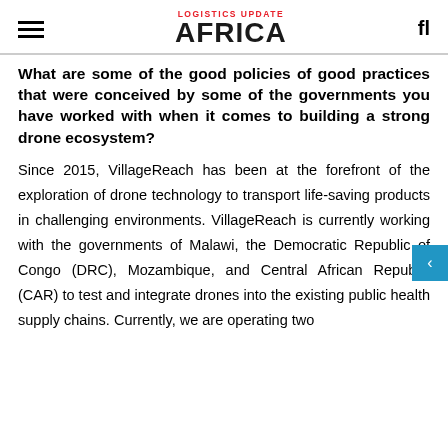LOGISTICS UPDATE AFRICA
What are some of the good policies of good practices that were conceived by some of the governments you have worked with when it comes to building a strong drone ecosystem?
Since 2015, VillageReach has been at the forefront of the exploration of drone technology to transport life-saving products in challenging environments. VillageReach is currently working with the governments of Malawi, the Democratic Republic of Congo (DRC), Mozambique, and Central African Republic (CAR) to test and integrate drones into the existing public health supply chains. Currently, we are operating two